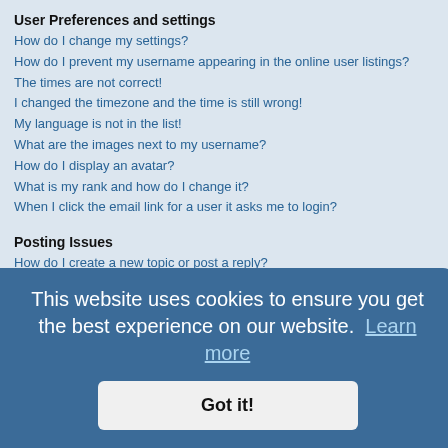User Preferences and settings
How do I change my settings?
How do I prevent my username appearing in the online user listings?
The times are not correct!
I changed the timezone and the time is still wrong!
My language is not in the list!
What are the images next to my username?
How do I display an avatar?
What is my rank and how do I change it?
When I click the email link for a user it asks me to login?
Posting Issues
How do I create a new topic or post a reply?
How do I edit or delete a post?
How do I add a signature to my post?
How do I create a poll?
Why can't I add more poll options?
How do I edit or delete a poll?
Why can't I access a forum?
Why can't I add attachments?
Why did I receive a warning?
How can I report posts to a moderator?
What is the "Save" button for in topic posting?
Why does my post need to be approved?
How do I bump my topic?
Formatting and Topic Types
What is BBCode?
This website uses cookies to ensure you get the best experience on our website. Learn more
Got it!